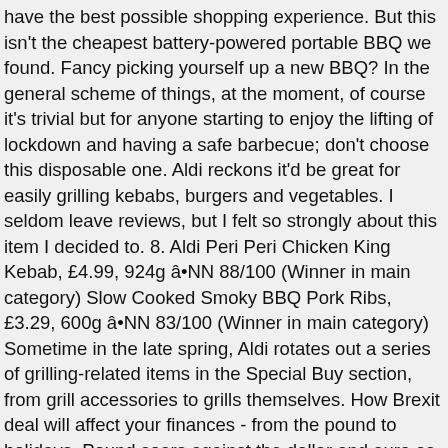have the best possible shopping experience. But this isn't the cheapest battery-powered portable BBQ we found. Fancy picking yourself up a new BBQ? In the general scheme of things, at the moment, of course it's trivial but for anyone starting to enjoy the lifting of lockdown and having a safe barbecue; don't choose this disposable one. Aldi reckons it'd be great for easily grilling kebabs, burgers and vegetables. I seldom leave reviews, but I felt so strongly about this item I decided to. 8. Aldi Peri Peri Chicken King Kebab, £4.99, 924g â•NN 88/100 (Winner in main category) Slow Cooked Smoky BBQ Pork Ribs, £3.29, 600g â•NN 83/100 (Winner in main category) Sometime in the late spring, Aldi rotates out a series of grilling-related items in the Special Buy section, from grill accessories to grills themselves. How Brexit deal will affect your finances - from the pound to holidays, Pound soars against the dollar and euro as UK signs historic Brexit deal, E.On charges 1.5m energy customers early and won't refund them until AFTER Xmas, Full list of supermarkets and shops NOT opening on Boxing Day, McDonald's